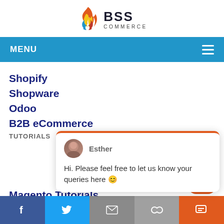[Figure (logo): BSS Commerce logo with flame icon and text 'BSS COMMERCE']
MENU
Shopify
Shopware
Odoo
B2B eCommerce
TUTORIALS
[Figure (screenshot): Chat popup from Esther: Hi. Please feel free to let us know your queries here 😊]
Magento Tutorials
[Figure (infographic): Social share bar with Facebook, Twitter, Email, Links, and Chat buttons]